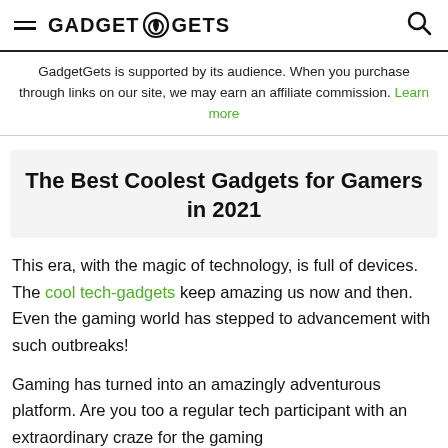GADGETGETS
GadgetGets is supported by its audience. When you purchase through links on our site, we may earn an affiliate commission. Learn more
The Best Coolest Gadgets for Gamers in 2021
This era, with the magic of technology, is full of devices. The cool tech-gadgets keep amazing us now and then. Even the gaming world has stepped to advancement with such outbreaks!
Gaming has turned into an amazingly adventurous platform. Are you too a regular tech participant with an extraordinary craze for the gaming